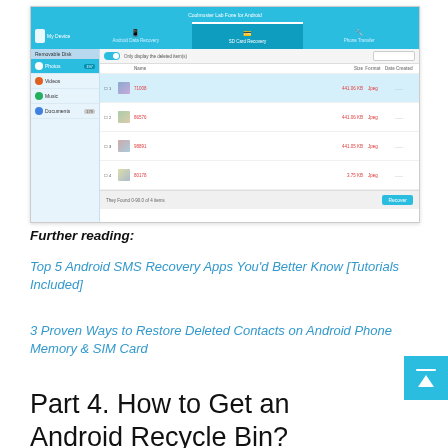[Figure (screenshot): Coolmuster Lab Fone for Android software screenshot showing SD Card Recovery panel with a list of 4 deleted image files (numbered 1-4) with their sizes in red text labeled as 'Jpeg' format. Left sidebar shows Removable Disk categories: Photos (selected, highlighted blue), Videos, Music, Documents. A Recover button is visible at the bottom right.]
Further reading:
Top 5 Android SMS Recovery Apps You'd Better Know [Tutorials Included]
3 Proven Ways to Restore Deleted Contacts on Android Phone Memory & SIM Card
Part 4. How to Get an Android Recycle Bin?